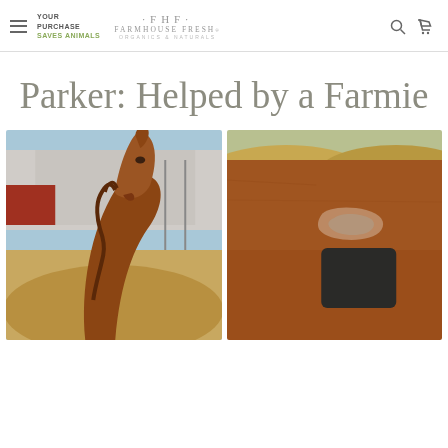YOUR PURCHASE SAVES ANIMALS | FHF FARMHOUSE FRESH ORGANICS & NATURALS
Parker: Helped by a Farmie
[Figure (photo): Close-up photo of a chestnut brown horse with its head resting near hay bales, eyes partially closed, in an outdoor pen with a building in the background]
[Figure (photo): Close-up photo of a chestnut horse's back/flank showing a healed wound or scar on the coat, with a dark patch visible]